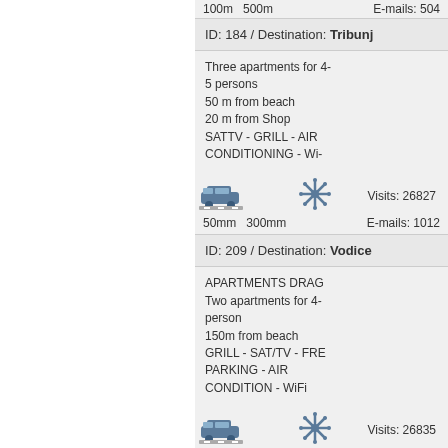100m   500m   E-mails: 504
ID: 184 / Destination: Tribunj
Three apartments for 4-5 persons
50 m from beach
20 m from Shop
SATTV - GRILL - AIR CONDITIONING - Wi-Fi
50mm   300mm   Visits: 26827   E-mails: 1012
ID: 209 / Destination: Vodice
APARTMENTS DRAG...
Two apartments for 4-person
150m from beach
GRILL - SAT/TV - FREE PARKING - AIR CONDITION - WiFi
150m   500m   Visits: 26835   E-mails: 1273
ID: 257 / Destination: Vodice
Two apartments for 3, or 5 persons 120m from beach. SATTV - GRILL...